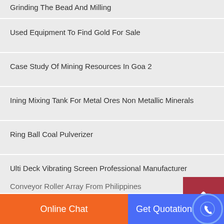Grinding The Bead And Milling
Used Equipment To Find Gold For Sale
Case Study Of Mining Resources In Goa 2
Ining Mixing Tank For Metal Ores Non Metallic Minerals
Ring Ball Coal Pulverizer
Ulti Deck Vibrating Screen Professional Manufacturer
Setting Ball Mill Test
Crusher Jaw Iron Ore Ton From Ethiopia
Conveyor Roller Array From Philippines